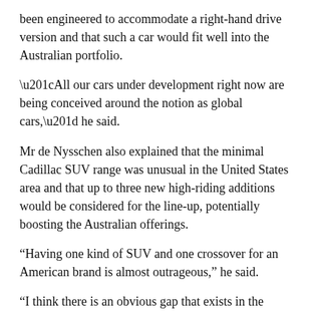been engineered to accommodate a right-hand drive version and that such a car would fit well into the Australian portfolio.
“All our cars under development right now are being conceived around the notion as global cars,” he said.
Mr de Nysschen also explained that the minimal Cadillac SUV range was unusual in the United States area and that up to three new high-riding additions would be considered for the line-up, potentially boosting the Australian offerings.
“Having one kind of SUV and one crossover for an American brand is almost outrageous,” he said.
“I think there is an obvious gap that exists in the range between where the SRX is and the Escalade, and then in the segments below SRX probably at least another two.”
While the American brand is looking to expand its range in existing segments, Mr de Nysschen explained it would not pursue a line-up that obsessively chases sales with niches within niches like some European manufacturers.